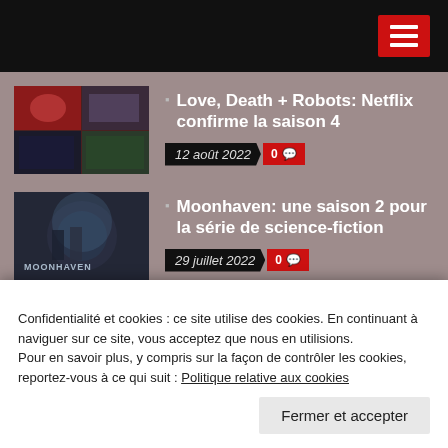Navigation bar with hamburger menu
[Figure (screenshot): Thumbnail image for Love Death + Robots article, showing collage of scenes]
Love, Death + Robots: Netflix confirme la saison 4
12 août 2022  0
[Figure (screenshot): Thumbnail image for Moonhaven TV series promotional poster]
Moonhaven: une saison 2 pour la série de science-fiction
29 juillet 2022  0
NOUVELLES SÉRIES  Afficher tout
Confidentialité et cookies : ce site utilise des cookies. En continuant à naviguer sur ce site, vous acceptez que nous en utilisions. Pour en savoir plus, y compris sur la façon de contrôler les cookies, reportez-vous à ce qui suit : Politique relative aux cookies
Fermer et accepter